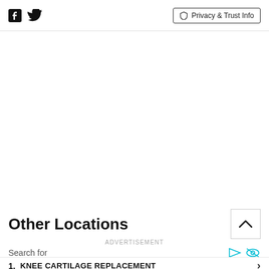Facebook Twitter | Privacy & Trust Info
Other Locations
ADVERTISEMENT
Search for
1. KNEE CARTILAGE REPLACEMENT